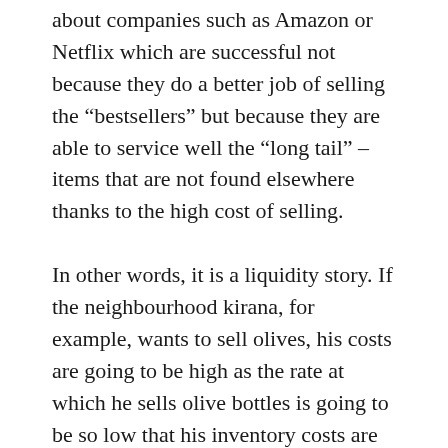about companies such as Amazon or Netflix which are successful not because they do a better job of selling the “bestsellers” but because they are able to service well the “long tail” – items that are not found elsewhere thanks to the high cost of selling.
In other words, it is a liquidity story. If the neighbourhood kirana, for example, wants to sell olives, his costs are going to be high as the rate at which he sells olive bottles is going to be so low that his inventory costs are going to increase, and the risks of ageing and spoilage of inventory also goes up. And he has to spend that much more manpower and effort in managing this extra item, so he decides to not